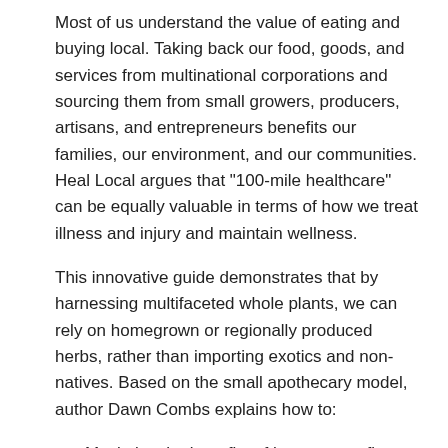Most of us understand the value of eating and buying local. Taking back our food, goods, and services from multinational corporations and sourcing them from small growers, producers, artisans, and entrepreneurs benefits our families, our environment, and our communities. Heal Local argues that "100-mile healthcare" can be equally valuable in terms of how we treat illness and injury and maintain wellness.
This innovative guide demonstrates that by harnessing multifaceted whole plants, we can rely on homegrown or regionally produced herbs, rather than importing exotics and non-natives. Based on the small apothecary model, author Dawn Combs explains how to:
Maximize the benefits of homegrown first aid, from increased freshness, potency and effectiveness, to community resilience and local economic growth
Make home herbal healthcare less intimidating and more attainable, by focusing on 20 herbs to effectively treat most common injuries and ailments
Implement a local medicine culture safely and sustainably,